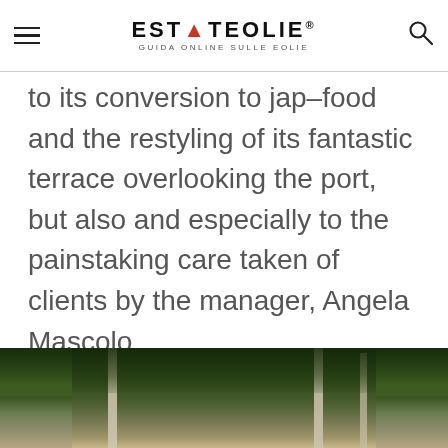ESTATEOLIE® GUIDA ONLINE SULLE EOLIE
to its conversion to jap-food and the restyling of its fantastic terrace overlooking the port, but also and especially to the painstaking care taken of clients by the manager, Angela Mascolo.
[Figure (photo): Outdoor terrace with pergola covered in green foliage, hanging pendant lamps, and white pillars, with a colourful hammock visible in the background]